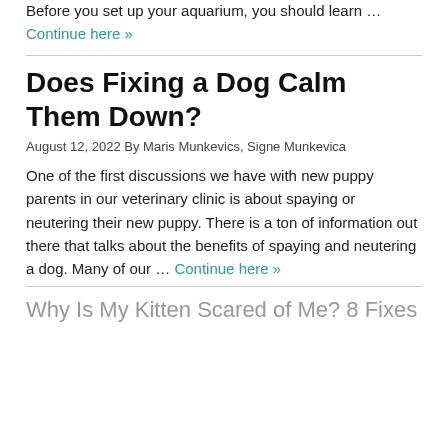Before you set up your aquarium, you should learn … Continue here »
Does Fixing a Dog Calm Them Down?
August 12, 2022 By Maris Munkevics, Signe Munkevica
One of the first discussions we have with new puppy parents in our veterinary clinic is about spaying or neutering their new puppy. There is a ton of information out there that talks about the benefits of spaying and neutering a dog. Many of our … Continue here »
Why Is My Kitten Scared of Me? 8 Fixes